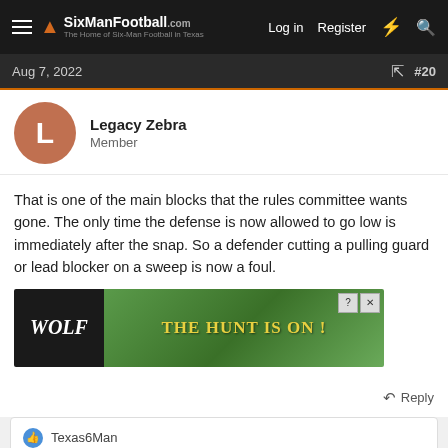SixManFootball.com — Log in  Register
Aug 7, 2022  #20
Legacy Zebra
Member
That is one of the main blocks that the rules committee wants gone. The only time the defense is now allowed to go low is immediately after the snap. So a defender cutting a pulling guard or lead blocker on a sweep is now a foul.
[Figure (photo): Advertisement banner for 'Wolf' game with text 'THE HUNT IS ON!']
Reply
Texas6Man
1 of 2  Next  ▶▶